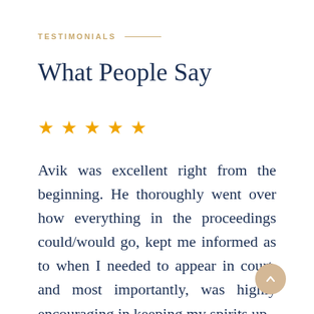TESTIMONIALS
What People Say
[Figure (other): Five gold star rating icons in a row]
Avik was excellent right from the beginning. He thoroughly went over how everything in the proceedings could/would go, kept me informed as to when I needed to appear in court, and most importantly, was highly encouraging in keeping my spirits up.